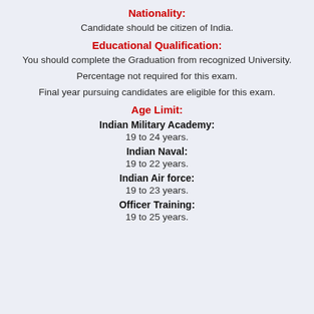Nationality:
Candidate should be citizen of India.
Educational Qualification:
You should complete the Graduation from recognized University.
Percentage not required for this exam.
Final year pursuing candidates are eligible for this exam.
Age Limit:
Indian Military Academy:
19 to 24 years.
Indian Naval:
19 to 22 years.
Indian Air force:
19 to 23 years.
Officer Training:
19 to 25 years.